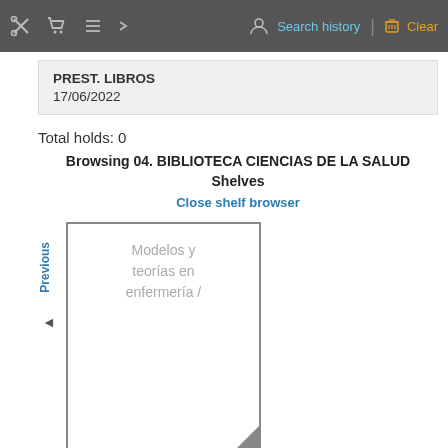Search history | Clear
PREST. LIBROS
17/06/2022
Total holds: 0
Browsing 04. BIBLIOTECA CIENCIAS DE LA SALUD Shelves
Close shelf browser
Previous
[Figure (illustration): Book cover thumbnail showing text 'Modelos y teorías en enfermería /']
[Figure (illustration): Small dark book cover strip at the bottom]